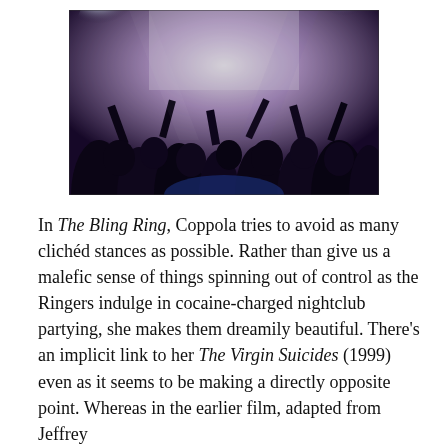[Figure (photo): A nightclub scene with a crowd of people silhouetted against bright purple and white stage lighting, arms raised, with a large projection screen visible in the background.]
In The Bling Ring, Coppola tries to avoid as many clichéd stances as possible. Rather than give us a malefic sense of things spinning out of control as the Ringers indulge in cocaine-charged nightclub partying, she makes them dreamily beautiful. There's an implicit link to her The Virgin Suicides (1999) even as it seems to be making a directly opposite point. Whereas in the earlier film, adapted from Jeffrey